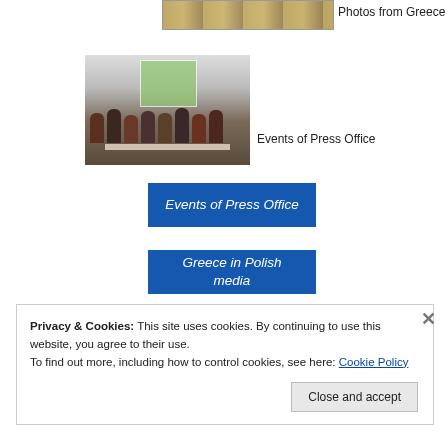[Figure (photo): Small thumbnail photo from Greece]
Photos from Greece
[Figure (photo): Panel discussion at Press Office event - several people seated around tables with a presentation screen visible]
Events of Press Office
[Figure (other): Blue button with italic text: Events of Press Office]
[Figure (other): Blue button with italic text: Greece in Polish media]
Privacy & Cookies: This site uses cookies. By continuing to use this website, you agree to their use.
To find out more, including how to control cookies, see here: Cookie Policy
Close and accept